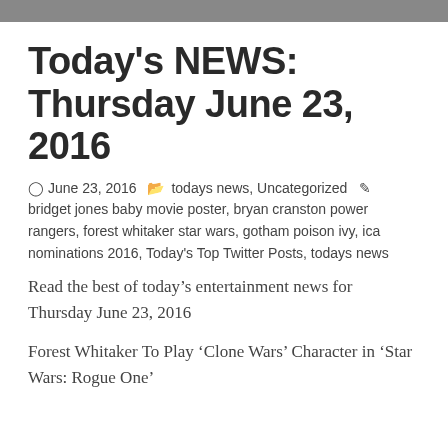Today's NEWS: Thursday June 23, 2016
⊙ June 23, 2016   ⬛ todays news, Uncategorized   ✏ bridget jones baby movie poster, bryan cranston power rangers, forest whitaker star wars, gotham poison ivy, ica nominations 2016, Today's Top Twitter Posts, todays news
Read the best of today's entertainment news for Thursday June 23, 2016
Forest Whitaker To Play 'Clone Wars' Character in 'Star Wars: Rogue One'